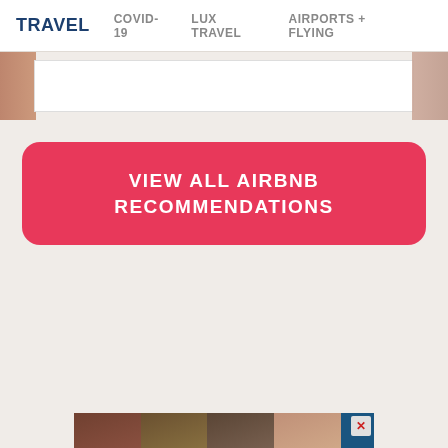TRAVEL  COVID-19  LUX TRAVEL  AIRPORTS + FLYING
[Figure (photo): Partially visible image strip with photos peeking in from the left and right edges, white content area in the center]
VIEW ALL AIRBNB RECOMMENDATIONS
[Figure (photo): Advertisement banner at the bottom showing a collage of faces with a DOWNLOAD bar and close X button]